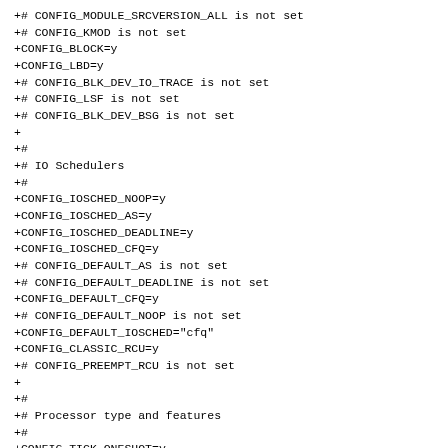+# CONFIG_MODULE_SRCVERSION_ALL is not set
+# CONFIG_KMOD is not set
+CONFIG_BLOCK=y
+CONFIG_LBD=y
+# CONFIG_BLK_DEV_IO_TRACE is not set
+# CONFIG_LSF is not set
+# CONFIG_BLK_DEV_BSG is not set
+
+#
+# IO Schedulers
+#
+CONFIG_IOSCHED_NOOP=y
+CONFIG_IOSCHED_AS=y
+CONFIG_IOSCHED_DEADLINE=y
+CONFIG_IOSCHED_CFQ=y
+# CONFIG_DEFAULT_AS is not set
+# CONFIG_DEFAULT_DEADLINE is not set
+CONFIG_DEFAULT_CFQ=y
+# CONFIG_DEFAULT_NOOP is not set
+CONFIG_DEFAULT_IOSCHED="cfq"
+CONFIG_CLASSIC_RCU=y
+# CONFIG_PREEMPT_RCU is not set
+
+#
+# Processor type and features
+#
+CONFIG_TICK_ONESHOT=y
+CONFIG_NO_HZ=y
+CONFIG_HIGH_RES_TIMERS=y
+CONFIG_GENERIC_CLOCKEVENTS_BUILD=y